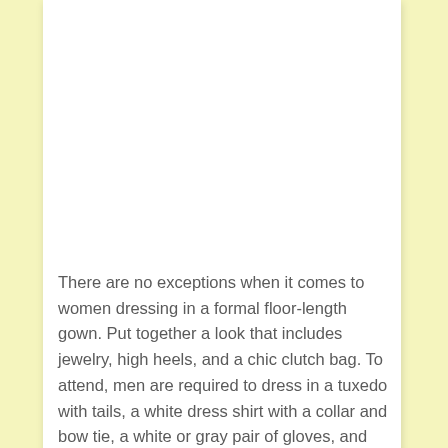There are no exceptions when it comes to women dressing in a formal floor-length gown. Put together a look that includes jewelry, high heels, and a chic clutch bag. To attend, men are required to dress in a tuxedo with tails, a white dress shirt with a collar and bow tie, a white or gray pair of gloves, and formal footwear such as derby shoes or oxfords.
Search for
01. Classy Wedding Reception Outfits
02. Trending Summer Wedding Dresses
Yahoo! Search | Sponsored